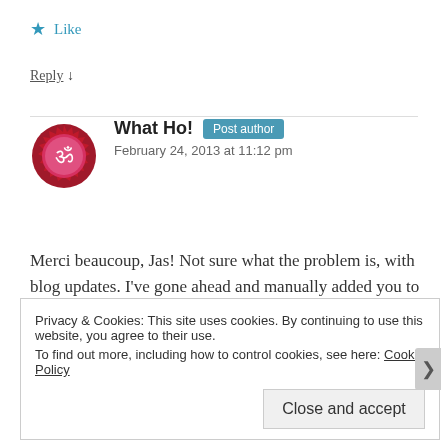★ Like
Reply ↓
What Ho! Post author
February 24, 2013 at 11:12 pm
Merci beaucoup, Jas! Not sure what the problem is, with blog updates. I've gone ahead and manually added you to the list. Hope that's ok.
Privacy & Cookies: This site uses cookies. By continuing to use this website, you agree to their use.
To find out more, including how to control cookies, see here: Cookie Policy
Close and accept